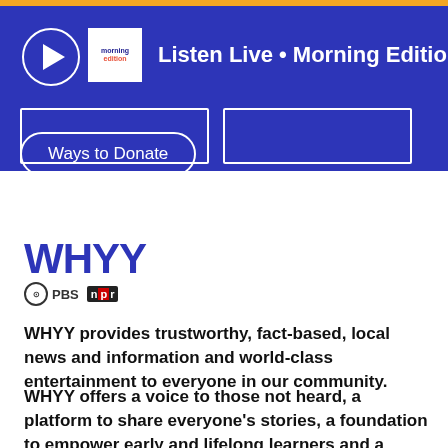[Figure (screenshot): WHYY public radio website header with orange top bar, blue background, play button circle, Morning Edition logo, Listen Live text, two white-bordered input boxes, and Ways to Donate button]
[Figure (logo): WHYY PBS NPR logo with blue WHYY wordmark and PBS and NPR badges]
WHYY provides trustworthy, fact-based, local news and information and world-class entertainment to everyone in our community.
WHYY offers a voice to those not heard, a platform to share everyone's stories, a foundation to empower early and lifelong learners and a trusted space for